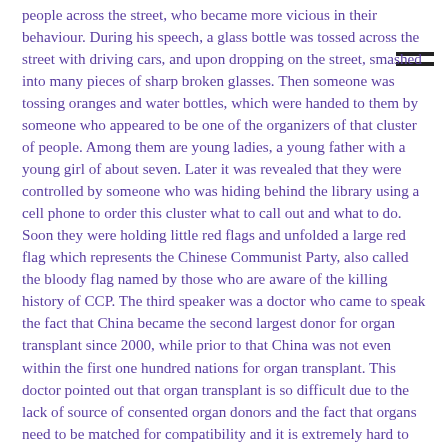people across the street, who became more vicious in their behaviour. During his speech, a glass bottle was tossed across the street with driving cars, and upon dropping on the street, smashed into many pieces of sharp broken glasses. Then someone was tossing oranges and water bottles, which were handed to them by someone who appeared to be one of the organizers of that cluster of people. Among them are young ladies, a young father with a young girl of about seven. Later it was revealed that they were controlled by someone who was hiding behind the library using a cell phone to order this cluster what to call out and what to do. Soon they were holding little red flags and unfolded a large red flag which represents the Chinese Communist Party, also called the bloody flag named by those who are aware of the killing history of CCP. The third speaker was a doctor who came to speak the fact that China became the second largest donor for organ transplant since 2000, while prior to that China was not even within the first one hundred nations for organ transplant. This doctor pointed out that organ transplant is so difficult due to the lack of source of consented organ donors and the fact that organs need to be matched for compatibility and it is extremely hard to find a matched donor under normal situation. He pointed out that the only way for China to provide organ for any person within a short two to four week period, is to take organ from a large pool of people who are waiting to be “used” as a live donor. Most of the people in the pool are prisoners of conscience and have been deprived their fundamental rights. The large increase of the availability of donor organs coincide with the persecution of Falun Dafa practitioners in China and the fact that so many practitioners “disappeared” after their arrest, indicating that the CCP is conducting the killing Falun Dafa practitioners for their organs and this